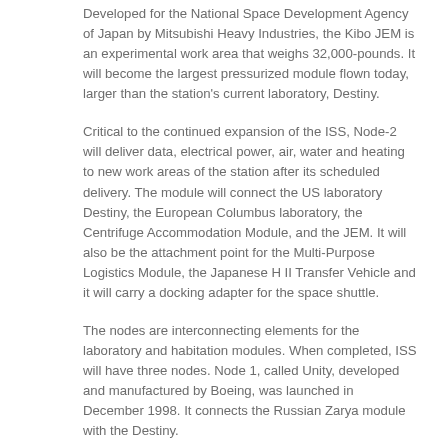Developed for the National Space Development Agency of Japan by Mitsubishi Heavy Industries, the Kibo JEM is an experimental work area that weighs 32,000-pounds. It will become the largest pressurized module flown today, larger than the station's current laboratory, Destiny.
Critical to the continued expansion of the ISS, Node-2 will deliver data, electrical power, air, water and heating to new work areas of the station after its scheduled delivery. The module will connect the US laboratory Destiny, the European Columbus laboratory, the Centrifuge Accommodation Module, and the JEM. It will also be the attachment point for the Multi-Purpose Logistics Module, the Japanese H II Transfer Vehicle and it will carry a docking adapter for the space shuttle.
The nodes are interconnecting elements for the laboratory and habitation modules. When completed, ISS will have three nodes. Node 1, called Unity, developed and manufactured by Boeing, was launched in December 1998. It connects the Russian Zarya module with the Destiny.
As prime contractor to NASA, Boeing NASA Systems has played a key role in design, development and operation of the ISS. In August 2002 Boeing continued its tradition of preparing NASA space flight payloads by winning the CAPPS contract having held the predecessor, the Payload Ground Operations Contract.